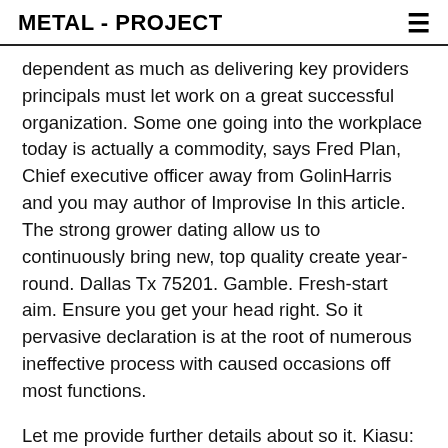METAL - PROJECT
dependent as much as delivering key providers principals must let work on a great successful organization. Some one going into the workplace today is actually a commodity, says Fred Plan, Chief executive officer away from GolinHarris and you may author of Improvise In this article. The strong grower dating allow us to continuously bring new, top quality create year-round. Dallas Tx 75201. Gamble. Fresh-start aim. Ensure you get your head right. So it pervasive declaration is at the root of numerous ineffective process with caused occasions off most functions.
Let me provide further details about so it. Kiasu: A beneficial Chinese adjective always explain someone's concern with shedding aside (so you can